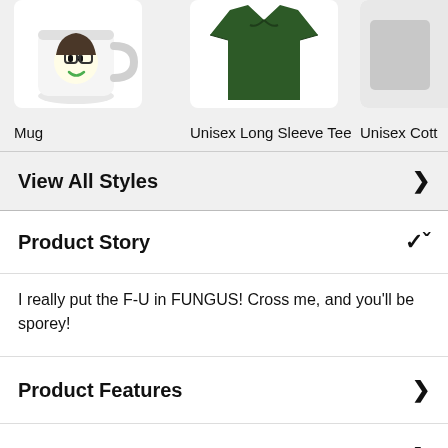[Figure (photo): Product image of a white mug with cartoon character illustration]
Mug
[Figure (photo): Product image of a dark green unisex long sleeve tee]
Unisex Long Sleeve Tee
[Figure (photo): Partially visible product image of a unisex cotton item]
Unisex Cott
View All Styles
Product Story
I really put the F-U in FUNGUS! Cross me, and you'll be sporey!
Product Features
Size Guide
Share With Friends